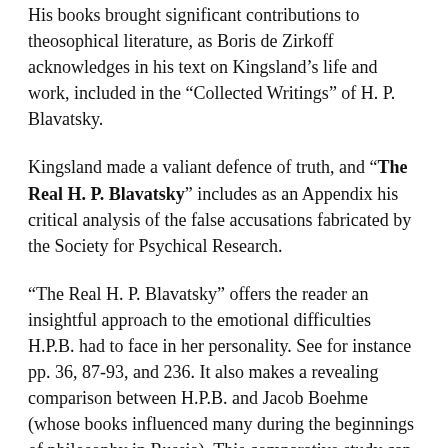His books brought significant contributions to theosophical literature, as Boris de Zirkoff acknowledges in his text on Kingsland’s life and work, included in the “Collected Writings” of H. P. Blavatsky.
Kingsland made a valiant defence of truth, and “The Real H. P. Blavatsky” includes as an Appendix his critical analysis of the false accusations fabricated by the Society for Psychical Research.
“The Real H. P. Blavatsky” offers the reader an insightful approach to the emotional difficulties H.P.B. had to face in her personality. See for instance pp. 36, 87-93, and 236. It also makes a revealing comparison between H.P.B. and Jacob Boehme (whose books influenced many during the beginnings of philosophy in Russia). This comparative study can be seen especially at pp. 13-17.
(Carlos Cardoso Aveline)